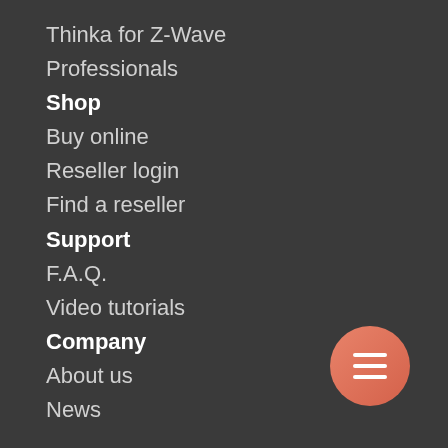Thinka for Z-Wave
Professionals
Shop
Buy online
Reseller login
Find a reseller
Support
F.A.Q.
Video tutorials
Company
About us
News
HomeKit
What is HomeKit?
How do I use HomeKit?
Making an Automation
Making a Scene in HomeKit
Control Accessories Remotely
[Figure (other): Orange circular hamburger menu button with three horizontal white lines]